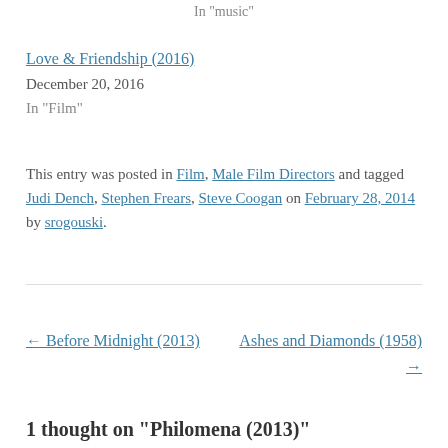In "music"
Love & Friendship (2016)
December 20, 2016
In "Film"
This entry was posted in Film, Male Film Directors and tagged Judi Dench, Stephen Frears, Steve Coogan on February 28, 2014 by srogouski.
← Before Midnight (2013)
Ashes and Diamonds (1958) →
1 thought on "Philomena (2013)"